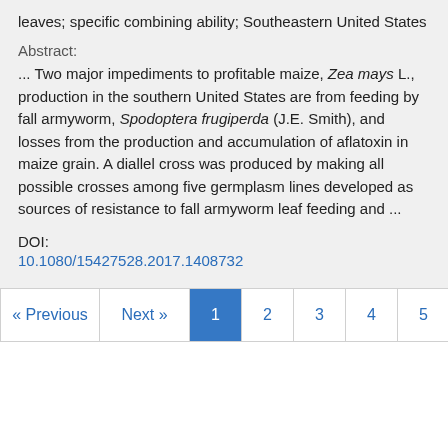leaves; specific combining ability; Southeastern United States
Abstract:
... Two major impediments to profitable maize, Zea mays L., production in the southern United States are from feeding by fall armyworm, Spodoptera frugiperda (J.E. Smith), and losses from the production and accumulation of aflatoxin in maize grain. A diallel cross was produced by making all possible crosses among five germplasm lines developed as sources of resistance to fall armyworm leaf feeding and ...
DOI:
10.1080/15427528.2017.1408732